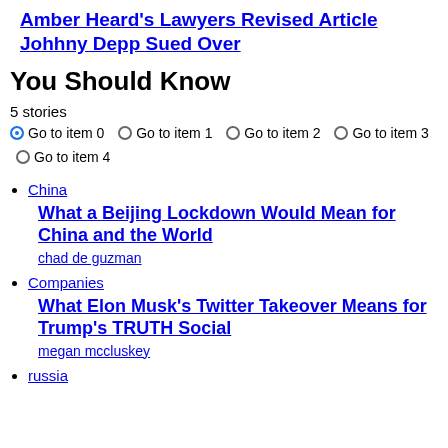Amber Heard's Lawyers Revised Article Johhny Depp Sued Over
You Should Know
5 stories
Go to item 0 Go to item 1 Go to item 2 Go to item 3 Go to item 4
China
What a Beijing Lockdown Would Mean for China and the World
chad de guzman
Companies
What Elon Musk's Twitter Takeover Means for Trump's TRUTH Social
megan mccluskey
russia